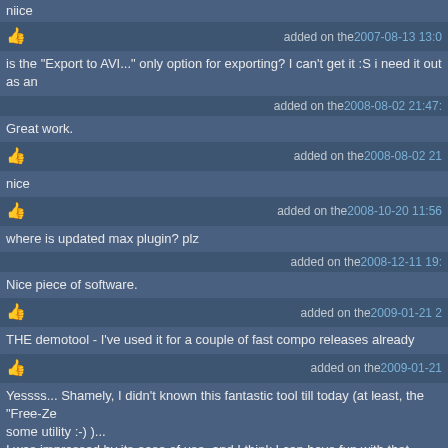niice
added on the 2007-08-13 13:0...
is the "Export to AVI..." only option for exporting? I can't get it :S i need it out as an
added on the 2008-08-02 21:47:...
Great work.
added on the 2008-08-02 21
nice
added on the 2008-10-20 11:56
where is updated max plugin? plz
added on the 2008-12-11 19:
Nice piece of software.
added on the 2009-01-21 2
THE demotool - I've used it for a couple of fast compo releases already
added on the 2009-01-21
Yessss... Shamely, I didn't known this fantastic tool till today (at least, the "Free-Ze... some utility :-) )...
I was impressed by its ease of use, and I think I can have fun with that...
added on the 2009-01-21 2
Amazing piece of software! What I like most about it is its simplicity. No bells and w... pointless features - it just lets the user take control and use his creativity.

I've played with engines that retail for $200 and more that aren't in the same league...

If there was some updated support for 3d anims (fbx importer perhaps) and modern... be a very active scener these days.